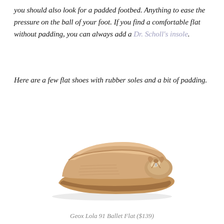you should also look for a padded footbed. Anything to ease the pressure on the ball of your foot. If you find a comfortable flat without padding, you can always add a Dr. Scholl's insole.
Here are a few flat shoes with rubber soles and a bit of padding.
[Figure (photo): A rose gold/champagne metallic ballet flat shoe (Geox Lola 91 Ballet Flat) with a bow detail at the toe and a rubber sole, shown on a white background.]
Geox Lola 91 Ballet Flat ($139)